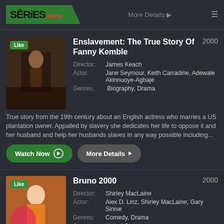[Figure (logo): SERiEsOnline website logo — dark green angled box with black SERIES text and red Online text]
More Details ▶
[Figure (photo): Thumbnail image for Enslavement: The True Story Of Fanny Kemble, dark toned scene]
Enslavement: The True Story Of Fanny Kemble
2000
Director: James Keach
Actor: Jane Seymour, Keith Carradine, Adewale Akinnuoye-Agbaje
Genres: Biography, Drama
True story from the 19th century about an English actress who marries a US plantation owner. Appalled by slavery she dedicates her life to oppose it and her husband and help her husbands slaves in any way possible including...
[Figure (photo): Thumbnail image for Bruno 2000, colorful scene with character]
Bruno 2000
2000
Director: Shirley MacLaine
Actor: Alex D. Linz, Shirley MacLaine, Gary Sinise
Genres: Comedy, Drama
Country: United States